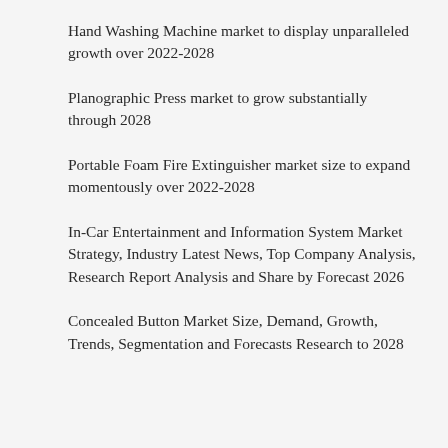Hand Washing Machine market to display unparalleled growth over 2022-2028
Planographic Press market to grow substantially through 2028
Portable Foam Fire Extinguisher market size to expand momentously over 2022-2028
In-Car Entertainment and Information System Market Strategy, Industry Latest News, Top Company Analysis, Research Report Analysis and Share by Forecast 2026
Concealed Button Market Size, Demand, Growth, Trends, Segmentation and Forecasts Research to 2028